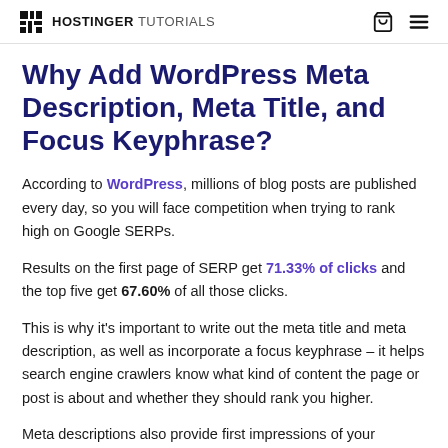HOSTINGER TUTORIALS
Why Add WordPress Meta Description, Meta Title, and Focus Keyphrase?
According to WordPress, millions of blog posts are published every day, so you will face competition when trying to rank high on Google SERPs.
Results on the first page of SERP get 71.33% of clicks and the top five get 67.60% of all those clicks.
This is why it's important to write out the meta title and meta description, as well as incorporate a focus keyphrase – it helps search engine crawlers know what kind of content the page or post is about and whether they should rank you higher.
Meta descriptions also provide first impressions of your website...